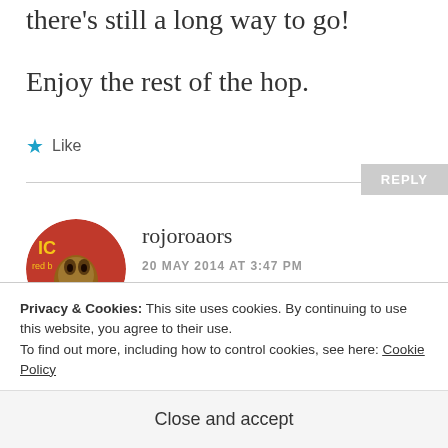there's still a long way to go!
Enjoy the rest of the hop.
★ Like
REPLY
rojoroaors
20 MAY 2014 AT 3:47 PM
Privacy & Cookies: This site uses cookies. By continuing to use this website, you agree to their use.
To find out more, including how to control cookies, see here: Cookie Policy
Close and accept